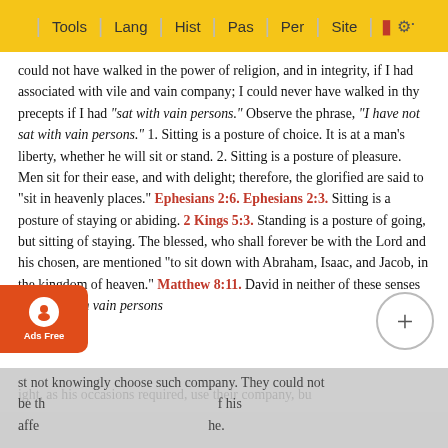Tools | Lang | Hist | Pas | Per | Site
could not have walked in the power of religion, and in integrity, if I had associated with vile and vain company; I could never have walked in thy precepts if I had "sat with vain persons." Observe the phrase, "I have not sat with vain persons." 1. Sitting is a posture of choice. It is at a man's liberty, whether he will sit or stand. 2. Sitting is a posture of pleasure. Men sit for their ease, and with delight; therefore, the glorified are said to "sit in heavenly places." Ephesians 2:6. Ephesians 2:3. Sitting is a posture of staying or abiding. 2 Kings 5:3. Standing is a posture of going, but sitting of staying. The blessed, who shall forever be with the Lord and his chosen, are mentioned "to sit down with Abraham, Isaac, and Jacob, in the kingdom of heaven." Matthew 8:11. David in neither of these senses durst sit with vain persons might, as his occasions required, use their company, but not knowingly choose such company. They could not be th... his affe... he. A...